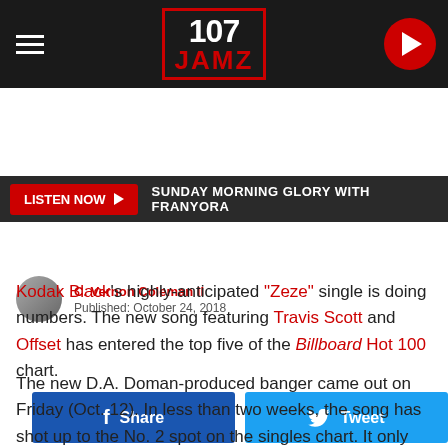[Figure (logo): 107 JAMZ radio station logo in red border box with white 107 and red JAMZ text, on dark navigation bar with hamburger menu and red play button]
LISTEN NOW ▶  SUNDAY MORNING GLORY WITH FRANYORA
C. Vernon Coleman II
Published: October 24, 2018
Share  Tweet
Kodak Black's highly-anticipated "Zeze" single is doing numbers. The new song featuring Travis Scott and Offset has entered the top five of the Billboard Hot 100 chart.
The new D.A. Doman-produced banger came out on Friday (Oct. 12). In less than two weeks, the song has shot up to the No. 2 spot on the singles chart. It only sits behind Maroon